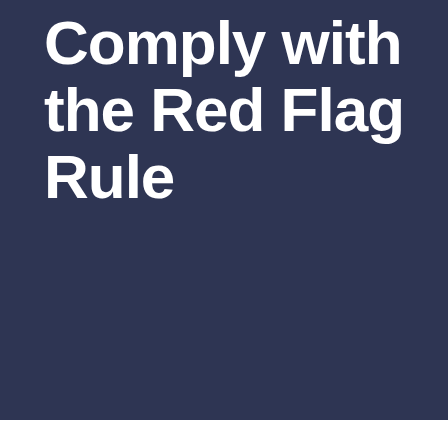Comply with the Red Flag Rule
JAN 03 2011
[Figure (illustration): Dark square box with a white pencil/edit icon]
BY ADMIN IN ARTICLE
To comply with the federal government's Red Flag Rule, you'll need to have a written policy that specifically addresses how you will prevent and handle identity theft — and more. Regulations designed to minimize identity theft went into effect in June of 2010